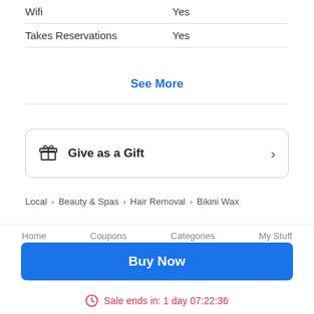| Wifi | Yes |
| Takes Reservations | Yes |
See More
Give as a Gift
Local > Beauty & Spas > Hair Removal > Bikini Wax
Home   Coupons   Categories   My Stuff
Buy Now
Sale ends in: 1 day 07:22:36